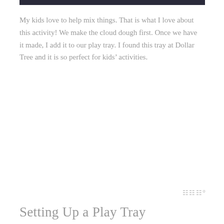[Figure (photo): Dark/black image strip at top of page]
My kids love to help mix things. That is what I love about this activity! We make the cloud dough first. Once we have it made, I add it to our play tray. I found this tray at Dollar Tree and it is so perfect for kids' activities.
ᵂᵂᵂ°
Setting Up a Play Tray